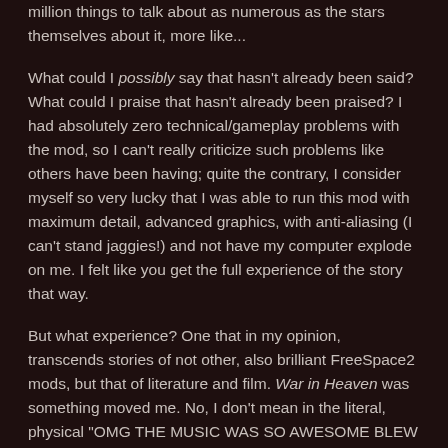million things to talk about as numerous as the stars themselves about it, more like...
What could I possibly say that hasn't already been said? What could I praise that hasn't already been praised? I had absolutely zero technical/gameplay problems with the mod, so I can't really criticize such problems like others have been having; quite the contrary, I consider myself so very lucky that I was able to run this mod with maximum detail, advanced graphics, with anti-aliasing (I can't stand jaggies!) and not have my computer explode on me. I felt like you get the full experience of the story that way.
But what experience? One that in my opinion, transcends stories of not other, also brilliant FreeSpace2 mods, but that of literature and film. War in Heaven was something moved me. No, I don't mean in the literal, physical "OMG THE MUSIC WAS SO AWESOME BLEW ME OUT OF MY CHAIR W-WAIT DID THAT NARAYANA JUST NAIL A TEV PERSEUS FROM 25,000K?! *goes flying out of chair*" (although that'd be pretty awesome), but that it simply...made me think about war. About life.